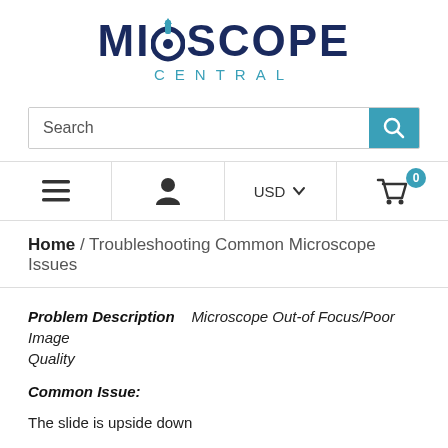[Figure (logo): Microscope Central logo with microscope icon integrated into the 'O' of MICROSCOPE, with CENTRAL in teal below]
[Figure (screenshot): Search bar with teal search button icon]
[Figure (screenshot): Navigation bar with hamburger menu, user icon, USD currency selector, and shopping cart with badge showing 0]
Home / Troubleshooting Common Microscope Issues
Problem Description   Microscope Out-of Focus/Poor Image Quality
Common Issue:
The slide is upside down